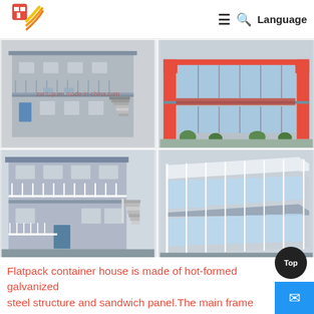Logo | ≡ 🔍 Language
[Figure (photo): Four photos of flatpack container houses/prefab modular buildings: top-left shows a two-story grey building with external staircase and blue door; top-right shows a two-story building with red top panel and glass facade; bottom-left shows a two-story grey building with white balcony railings and external staircase; bottom-right shows a long two-story modular building with glass walls and steel frame. Watermark: zontop.en.made-in-china.com]
Flatpack container house is made of hot-formed galvanized steel structure and sandwich panel.The main frame concludes three modular parts: top frame, corner
[Figure (other): Top button (dark circle) and mail button (blue square with envelope icon) in bottom-right corner]